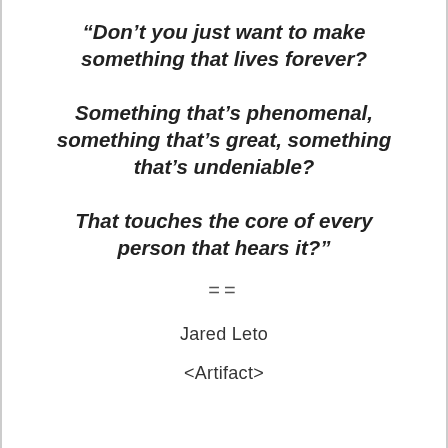“Don’t you just want to make something that lives forever? Something that’s phenomenal, something that’s great, something that’s undeniable? That touches the core of every person that hears it?”
==
Jared Leto
<Artifact>